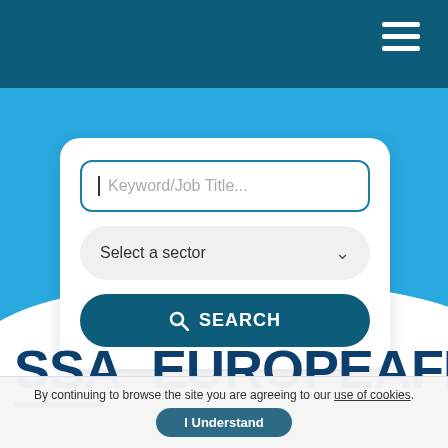[Figure (screenshot): Dark teal navigation top bar with hamburger menu icon (three horizontal white lines) on the right side]
[Figure (screenshot): Job search widget on blue background with three elements: a keyword/job title text input, a sector dropdown selector, and a dark blue SEARCH button]
SSA_EUROPEAFRICA_N
By continuing to browse the site you are agreeing to our use of cookies. I Understand